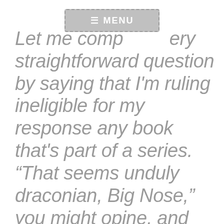[Figure (screenshot): Navigation menu bar overlay with hamburger icon and MENU text, grey background with dashed border]
Let me comp[lete a v]ery straightforward question by saying that I'm ruling ineligible for my response any book that's part of a series. “That seems unduly draconian, Big Nose,” you might opine, and you would certainly be justified in holding that opinion, both about my exclusion of series books and the proportions of my proboscis. That said, the reason for that exclusion is that I find it impossible to judge a book in a series solely on its own merit; it is